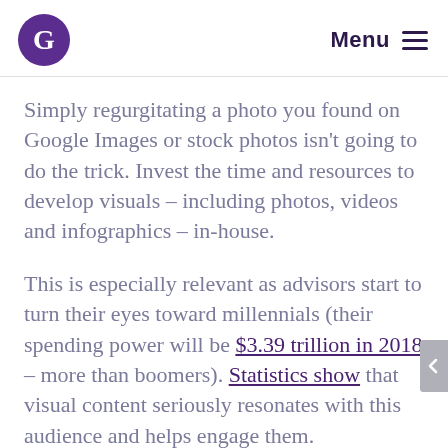G Menu
Simply regurgitating a photo you found on Google Images or stock photos isn’t going to do the trick. Invest the time and resources to develop visuals – including photos, videos and infographics – in-house.
This is especially relevant as advisors start to turn their eyes toward millennials (their spending power will be $3.39 trillion in 2018 – more than boomers). Statistics show that visual content seriously resonates with this audience and helps engage them.
III. THY BENCH SHOULD BE